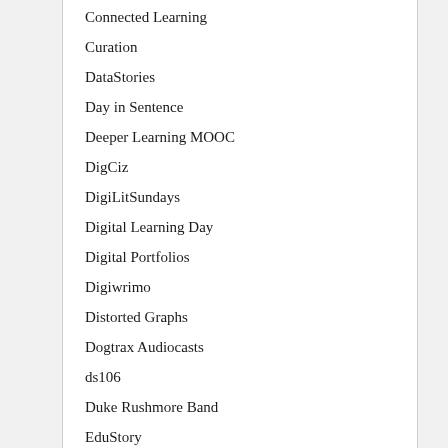Connected Learning
Curation
DataStories
Day in Sentence
Deeper Learning MOOC
DigCiz
DigiLitSundays
Digital Learning Day
Digital Portfolios
Digiwrimo
Distorted Graphs
Dogtrax Audiocasts
ds106
Duke Rushmore Band
EduStory